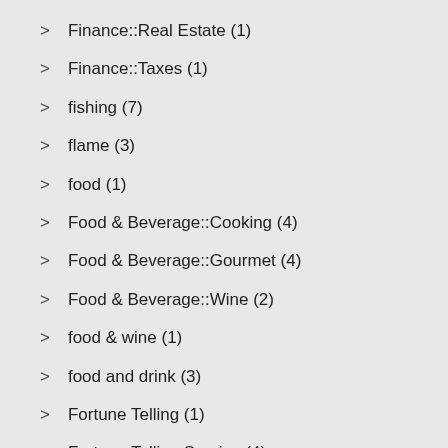Finance::Real Estate (1)
Finance::Taxes (1)
fishing (7)
flame (3)
food (1)
Food & Beverage::Cooking (4)
Food & Beverage::Gourmet (4)
Food & Beverage::Wine (2)
food & wine (1)
food and drink (3)
Fortune Telling (1)
Fortune Telling Service (4)
Fortune Telling Service (1)